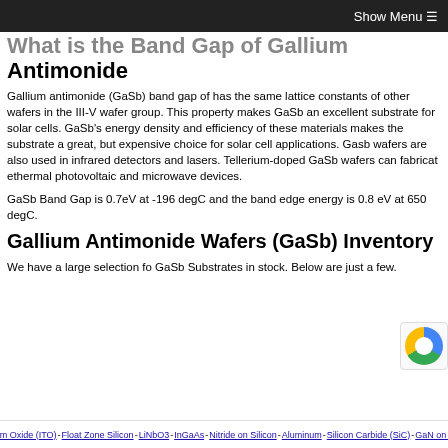Show Menu ☰
What is the Band Gap of Gallium Antimonide
Gallium antimonide (GaSb) band gap of has the same lattice constants of other wafers in the III-V wafer group. This property makes GaSb an excellent substrate for solar cells. GaSb's energy density and efficiency of these materials makes the substrate a great, but expensive choice for solar cell applications. Gasb wafers are also used in infrared detectors and lasers. Tellerium-doped GaSb wafers can fabricat ethermal photovoltaic and microwave devices.
GaSb Band Gap is 0.7eV at -196 degC and the band edge energy is 0.8 eV at 650 degC.
Gallium Antimonide Wafers (GaSb) Inventory
We have a large selection fo GaSb Substrates in stock. Below are just a few.
Indium Tim Oxide (ITO) - Float Zone Silicon - LiNbO3 - InGaAs - Nitride on Silicon - Aluminum - Silicon Carbide (SiC) - GaN on Sapphire